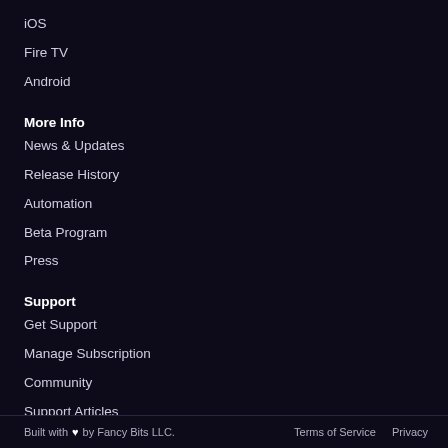iOS
Fire TV
Android
More Info
News & Updates
Release History
Automation
Beta Program
Press
Support
Get Support
Manage Subscription
Community
Support Articles
Status
Built with ♥ by Fancy Bits LLC.   Terms of Service   Privacy